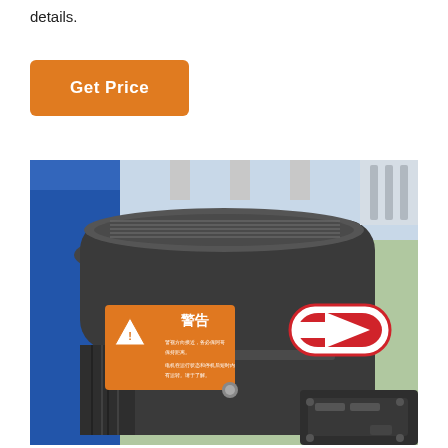details.
Get Price
[Figure (photo): Close-up photo of an industrial electric motor with a dark grey cylindrical housing, orange warning label with Chinese characters (警告), a red rotation direction arrow sticker, cooling fins on the body, and a junction box visible at the bottom right. The motor is mounted against a blue surface in what appears to be a factory or workshop setting.]